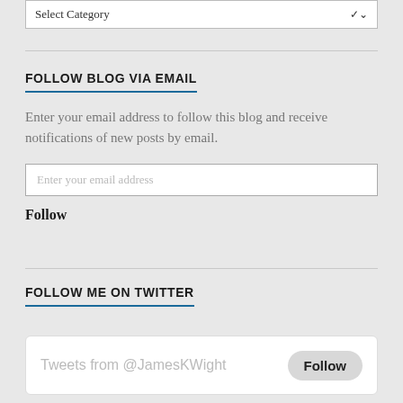[Figure (screenshot): Dropdown select box with 'Select Category' placeholder and chevron arrow]
FOLLOW BLOG VIA EMAIL
Enter your email address to follow this blog and receive notifications of new posts by email.
[Figure (screenshot): Email input text field with placeholder 'Enter your email address']
Follow
FOLLOW ME ON TWITTER
[Figure (screenshot): Twitter widget showing 'Tweets from @JamesKWight' with a Follow button]